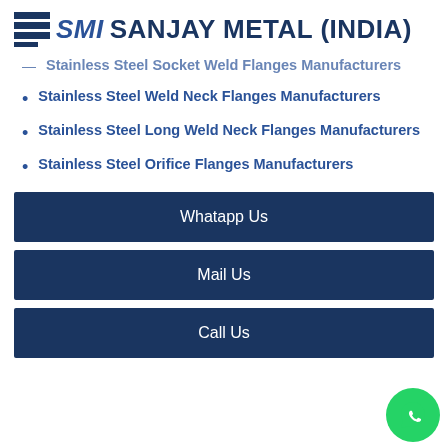SMI SANJAY METAL (INDIA)
Stainless Steel Socket Weld Flanges Manufacturers
Stainless Steel Weld Neck Flanges Manufacturers
Stainless Steel Long Weld Neck Flanges Manufacturers
Stainless Steel Orifice Flanges Manufacturers
Whatapp Us
Mail Us
Call Us